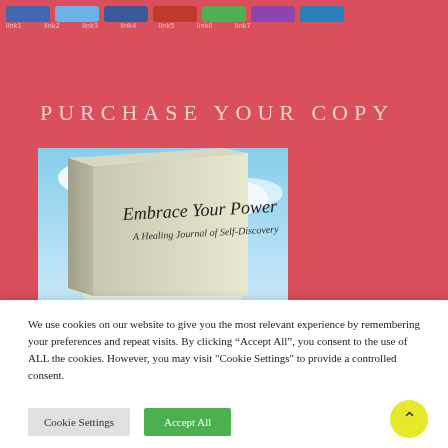Nav bar with social/share buttons
PURCHASE YOUR COPY
[Figure (photo): A book titled 'Embrace Your Power – A Healing Journal of Self-Discovery' shown at an angle against a sky with clouds background]
We use cookies on our website to give you the most relevant experience by remembering your preferences and repeat visits. By clicking “Accept All”, you consent to the use of ALL the cookies. However, you may visit "Cookie Settings" to provide a controlled consent.